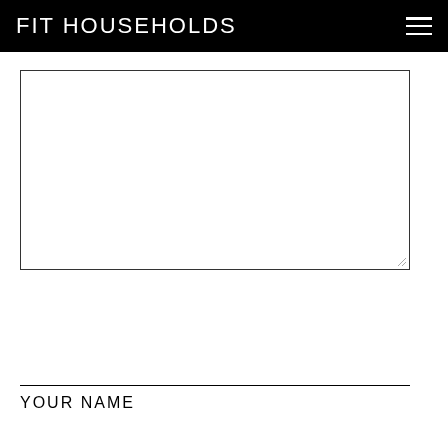FIT HOUSEHOLDS
[Figure (other): Empty textarea/text input box with resize handle in bottom-right corner]
YOUR NAME